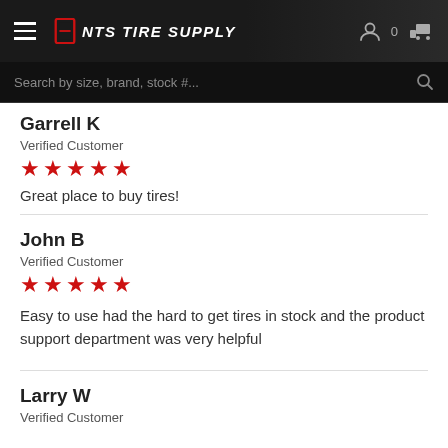NTS TIRE SUPPLY
Search by size, brand, stock #...
Garrell K
Verified Customer
★★★★★
Great place to buy tires!
John B
Verified Customer
★★★★★
Easy to use had the hard to get tires in stock and the product support department was very helpful
Larry W
Verified Customer